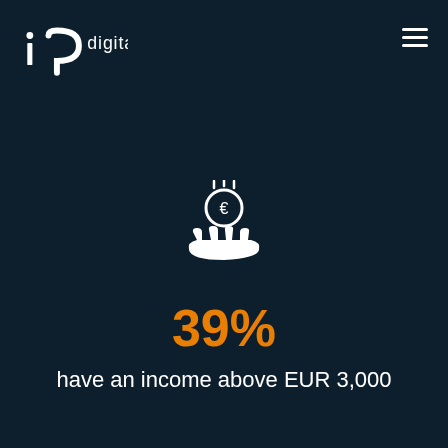iq digital
[Figure (illustration): White icon of a hand receiving a euro coin with decorative elements above]
39%
have an income above EUR 3,000